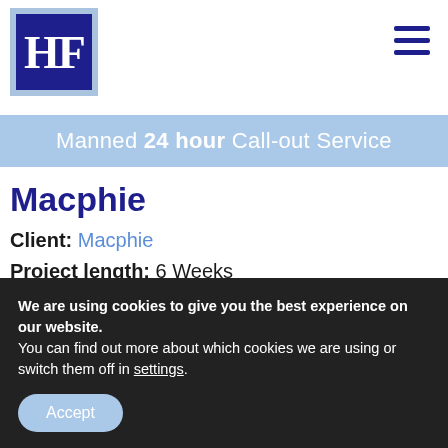[Figure (logo): HF logo: dark blue square with white serif HF letters, light blue border]
Manned 24 hour Call-out Service
Macphie
Client: Macphie
Project length: 6 Weeks
Project value: £44k +
We are using cookies to give you the best experience on our website.
You can find out more about which cookies we are using or switch them off in settings.